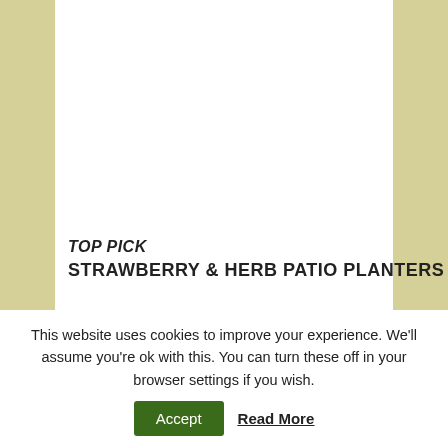[Figure (photo): White center panel with olive/tan side columns, partially cropped image area at top]
TOP PICK
STRAWBERRY & HERB PATIO PLANTERS
This website uses cookies to improve your experience. We'll assume you're ok with this. You can turn these off in your browser settings if you wish.
Accept  Read More